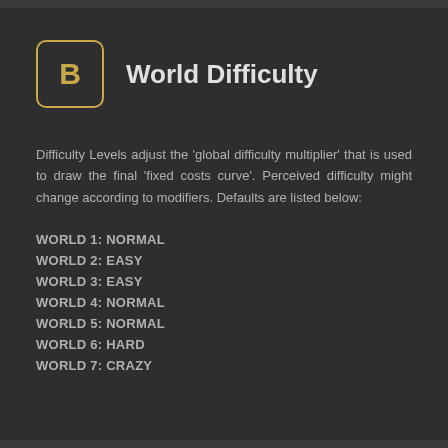B  World Difficulty
Difficulty Levels adjust the 'global difficulty multiplier' that is used to draw the final 'fixed costs curve'. Perceived difficulty might change according to modifiers. Defaults are listed below:
WORLD 1: NORMAL
WORLD 2: EASY
WORLD 3: EASY
WORLD 4: NORMAL
WORLD 5: NORMAL
WORLD 6: HARD
WORLD 7: CRAZY